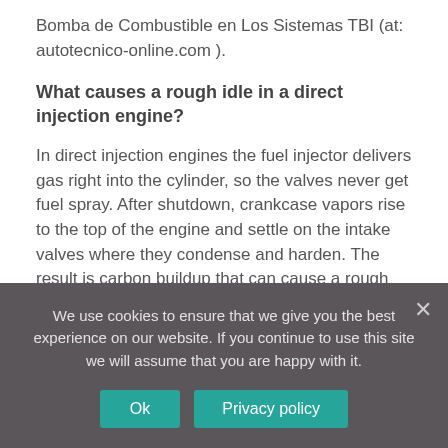Bomba de Combustible en Los Sistemas TBI (at: autotecnico-online.com ).
What causes a rough idle in a direct injection engine?
In direct injection engines the fuel injector delivers gas right into the cylinder, so the valves never get fuel spray. After shutdown, crankcase vapors rise to the top of the engine and settle on the intake valves where they condense and harden. The result is carbon buildup that can cause a rough engine idle.
What's the downside of having a rough idle?
We use cookies to ensure that we give you the best experience on our website. If you continue to use this site we will assume that you are happy with it.